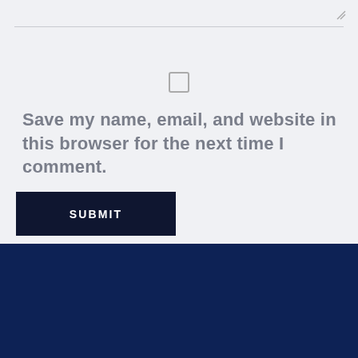[Figure (other): Resize handle icon in top right corner of form area]
Save my name, email, and website in this browser for the next time I comment.
[Figure (other): Submit button - dark navy rectangle with white SUBMIT text]
[Figure (logo): Commodity Port logo - white icon and text on dark navy footer background]
© 2022 Commodity Port. All rights reserved. Designed by A...et
[Figure (other): Google reCAPTCHA badge with Privacy and Terms links]